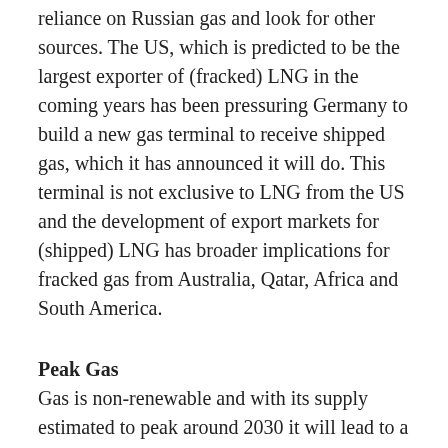reliance on Russian gas and look for other sources. The US, which is predicted to be the largest exporter of (fracked) LNG in the coming years has been pressuring Germany to build a new gas terminal to receive shipped gas, which it has announced it will do. This terminal is not exclusive to LNG from the US and the development of export markets for (shipped) LNG has broader implications for fracked gas from Australia, Qatar, Africa and South America.
Peak Gas
Gas is non-renewable and with its supply estimated to peak around 2030 it will lead to a higher volatility in its availability and higher prices. 1) The multi-million investments in